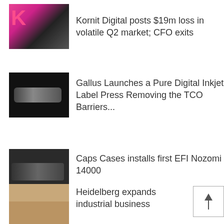[Figure (photo): Thumbnail image for Kornit Digital article showing a person standing with K logo background]
Kornit Digital posts $19m loss in volatile Q2 market; CFO exits
[Figure (photo): Thumbnail image for Gallus article showing a dark industrial printing machine]
Gallus Launches a Pure Digital Inkjet Label Press Removing the TCO Barriers...
[Figure (photo): Thumbnail image for Caps Cases article showing dark industrial printing equipment]
Caps Cases installs first EFI Nozomi 14000
[Figure (photo): Thumbnail image for Heidelberg article showing an industrial business exhibition or showroom]
Heidelberg expands industrial business